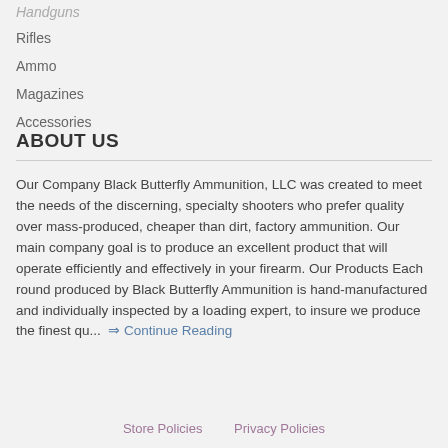Handguns
Rifles
Ammo
Magazines
Accessories
ABOUT US
Our Company Black Butterfly Ammunition, LLC was created to meet the needs of the discerning, specialty shooters who prefer quality over mass-produced, cheaper than dirt, factory ammunition. Our main company goal is to produce an excellent product that will operate efficiently and effectively in your firearm. Our Products Each round produced by Black Butterfly Ammunition is hand-manufactured and individually inspected by a loading expert, to insure we produce the finest qu... ⇒ Continue Reading
Store Policies   Privacy Policies